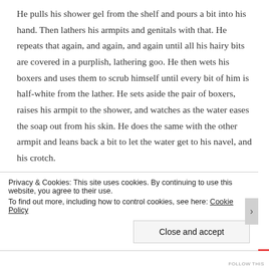He pulls his shower gel from the shelf and pours a bit into his hand. Then lathers his armpits and genitals with that. He repeats that again, and again, and again until all his hairy bits are covered in a purplish, lathering goo. He then wets his boxers and uses them to scrub himself until every bit of him is half-white from the lather. He sets aside the pair of boxers, raises his armpit to the shower, and watches as the water eases the soap out from his skin. He does the same with the other armpit and leans back a bit to let the water get to his navel, and his crotch.
The water feels ticklish when it hits his groin. He likes that, and he is tempted to reach for the shower gel again
Privacy & Cookies: This site uses cookies. By continuing to use this website, you agree to their use. To find out more, including how to control cookies, see here: Cookie Policy
Close and accept